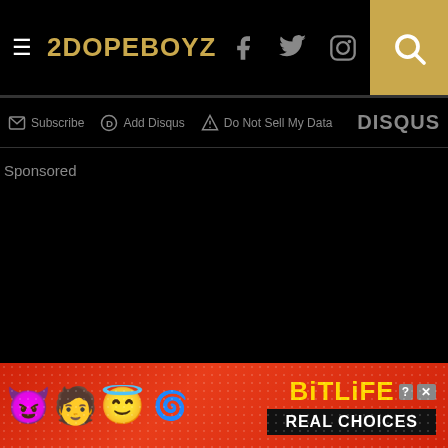2DOPEBOYZ
Subscribe   Add Disqus   Do Not Sell My Data   DISQUS
Sponsored
[Figure (screenshot): Black content area with no visible content]
[Figure (infographic): BitLife Real Choices advertisement banner with emoji characters (devil, person, angel) on red background]